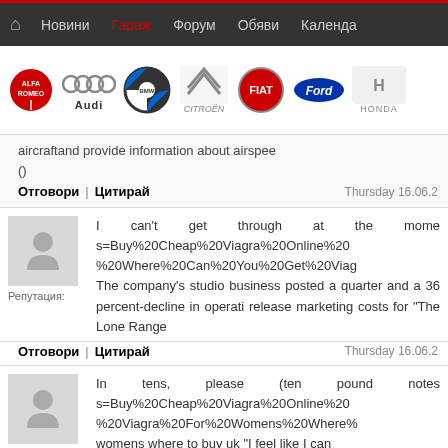🏠 Новини | Гараж | Форум | Обяви | Календа
[Figure (logo): Car brand logos: Alfa Romeo, Audi, BMW, Citroën, FIAT, Ford, Honda]
aircraftand provide information about airspee
()
Отговори | Цитирай   Thursday 16.06.2
Репутация:
I can't get through at the mome s=Buy%20Cheap%20Viagra%20Online%20 %20Where%20Can%20You%20Get%20Viag The company's studio business posted a quarter and a 36 percent-decline in operati release marketing costs for "The Lone Range
Отговори | Цитирай   Thursday 16.06.2
Репутация:
In tens, please (ten pound notes s=Buy%20Cheap%20Viagra%20Online%20 %20Viagra%20For%20Womens%20Where% womens where to buy uk "I feel like I can